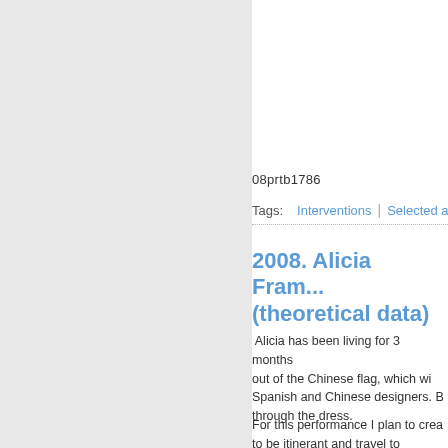[Figure (other): Left gray sidebar panel]
08prtb1786
Tags:  Interventions  |  Selected artis...
2008. Alicia Fram... (theoretical data)
Alicia has been living for 3 months... out of the Chinese flag, which wi... Spanish and Chinese designers. B... through the dress.
For this performance I plan to crea... to be itinerant and travel to differen...